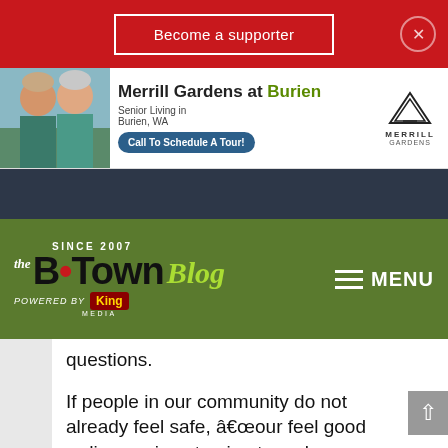Become a supporter
[Figure (screenshot): Merrill Gardens at Burien advertisement with two elderly women, Call To Schedule A Tour button, and Merrill Gardens logo]
[Figure (logo): B-Town Blog logo - Since 2007, Powered by King Media, with MENU hamburger navigation]
questions.
If people in our community do not already feel safe, “our feel good ordinance is not going to make any difference,” Wagner said.
Most speakers supported the fact that the city would never ask people about their citizenship or the lack of it. That has been the practice followed by the King Coun
English